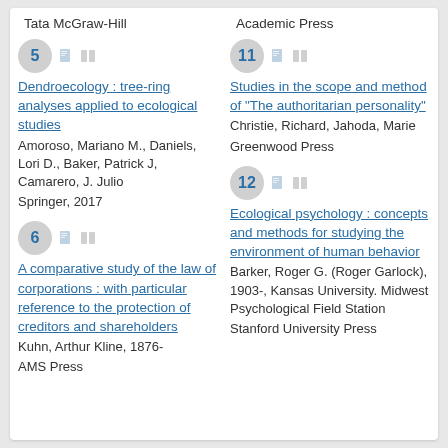Tata McGraw-Hill
Academic Press
5 — Dendroecology : tree-ring analyses applied to ecological studies — Amoroso, Mariano M., Daniels, Lori D., Baker, Patrick J, Camarero, J. Julio — Springer, 2017
11 — Studies in the scope and method of "The authoritarian personality" — Christie, Richard, Jahoda, Marie — Greenwood Press
6 — A comparative study of the law of corporations : with particular reference to the protection of creditors and shareholders — Kuhn, Arthur Kline, 1876- — AMS Press
12 — Ecological psychology : concepts and methods for studying the environment of human behavior — Barker, Roger G. (Roger Garlock), 1903-, Kansas University. Midwest Psychological Field Station — Stanford University Press